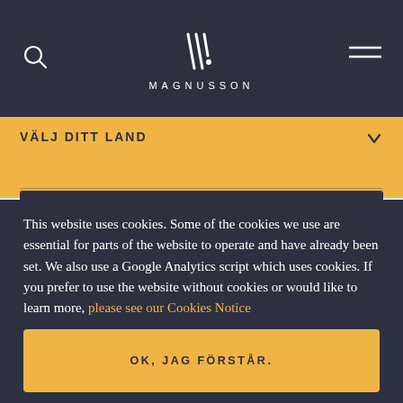MAGNUSSON
VÄLJ DITT LAND
This website uses cookies. Some of the cookies we use are essential for parts of the website to operate and have already been set. We also use a Google Analytics script which uses cookies. If you prefer to use the website without cookies or would like to learn more, please see our Cookies Notice
OK, JAG FÖRSTÅR.